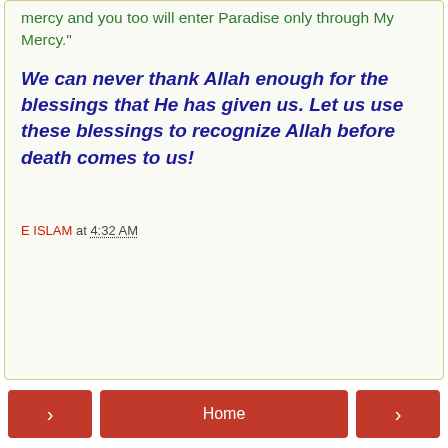mercy and you too will enter Paradise only through My Mercy."
We can never thank Allah enough for the blessings that He has given us. Let us use these blessings to recognize Allah before death comes to us!
E ISLAM at 4:32 AM
[Figure (screenshot): Navigation bar with left arrow, Home button, and right arrow, all in dark red/crimson color]
View web version
www.eislam.co.za
[Figure (photo): Nighttime photo of a mosque with illuminated minarets]
E ISLAM